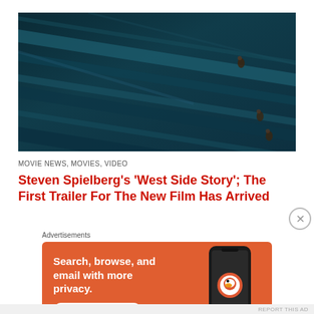[Figure (photo): Dark cinematic aerial or overhead shot showing teal/dark blue diagonal streaks or fabric patterns with several small human figures visible against the background]
MOVIE NEWS, MOVIES, VIDEO
Steven Spielberg's 'West Side Story'; The First Trailer For The New Film Has Arrived
[Figure (photo): DuckDuckGo advertisement banner. Orange/red background with text 'Search, browse, and email with more privacy. All in One Free App' alongside a smartphone showing the DuckDuckGo app and logo.]